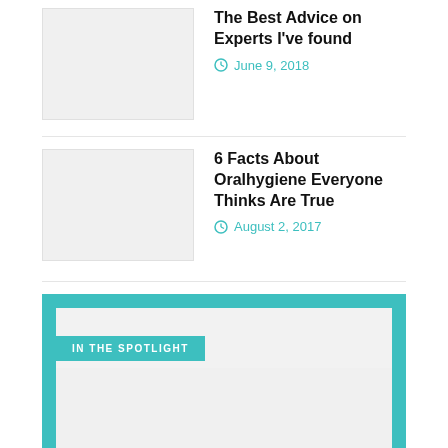The Best Advice on Experts I've found
June 9, 2018
6 Facts About Oralhygiene Everyone Thinks Are True
August 2, 2017
IN THE SPOTLIGHT
Before You Buy A Lonton